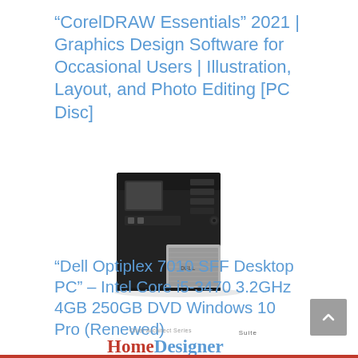“CorelDRAW Essentials” 2021 | Graphics Design Software for Occasional Users | Illustration, Layout, and Photo Editing [PC Disc]
[Figure (photo): Photo of a Dell Optiplex 7010 SFF Desktop PC tower, black and silver, shown at an angle.]
“Dell Optiplex 7010 SFF Desktop PC” – Intel Core i5-3470 3.2GHz 4GB 250GB DVD Windows 10 Pro (Renewed)
[Figure (logo): Chief Architect Series Home Designer Suite logo with red and blue text, partially visible at bottom.]